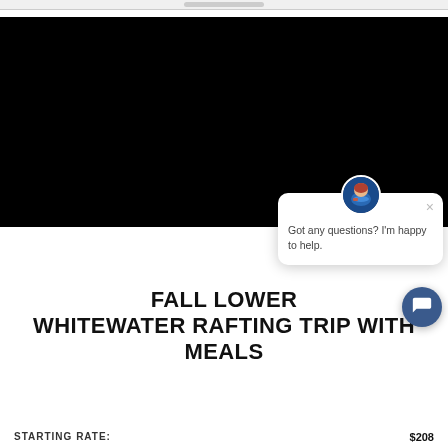[Figure (screenshot): Dark/black video player area with a chat popup overlay in the bottom right. The chat popup shows an avatar of a kayaker, an X close button, and text 'Got any questions? I'm happy to help.' A round dark blue chat button is at the bottom right.]
FALL LOWER WHITEWATER RAFTING TRIP WITH MEALS
STARTING RATE:  $208